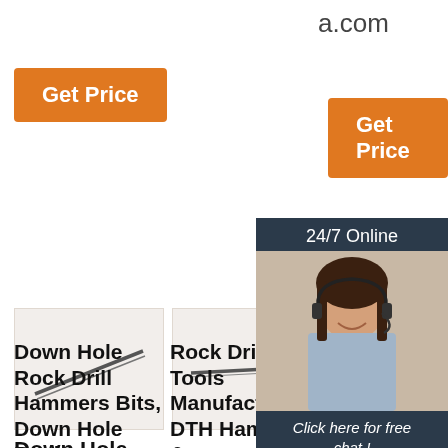a.com
[Figure (screenshot): Orange Get Price button (left)]
[Figure (screenshot): Orange Get Price button (center)]
[Figure (photo): Rock drill rod/bit product image 1]
[Figure (photo): Rock drill rod/bit product image 2]
[Figure (screenshot): 24/7 Online chat panel with customer service photo, Click here for free chat, and QUOTATION button]
Down Hole Rock Drill Hammers Bits, Down Hole Rock DTH H...
Rock Drilling Tools Manufacturers, DTH Hammer & DTH H...
5in Drill Hammer , Buy DTH Drill Hammer,
In other applicati